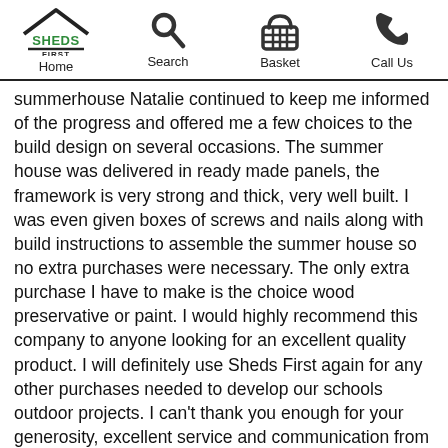Sheds First | Home | Search | Basket | Call Us
summerhouse Natalie continued to keep me informed of the progress and offered me a few choices to the build design on several occasions. The summer house was delivered in ready made panels, the framework is very strong and thick, very well built. I was even given boxes of screws and nails along with build instructions to assemble the summer house so no extra purchases were necessary. The only extra purchase I have to make is the choice wood preservative or paint. I would highly recommend this company to anyone looking for an excellent quality product. I will definitely use Sheds First again for any other purchases needed to develop our schools outdoor projects. I can't thank you enough for your generosity, excellent service and communication from the first call right through the process to end product and delivery service. The summer house will provide an excellent ooutdoor provision for our very special pupils who also send you a big thanks. Well done Sheds First keep up your excellent work and I'm sure your business will